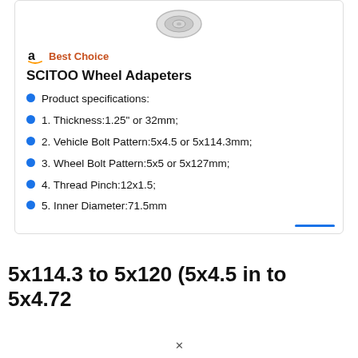[Figure (photo): Product image of a silver wheel adapter/spacer, partially visible at top of card]
Best Choice
SCITOO Wheel Adapeters
Product specifications:
1. Thickness:1.25" or 32mm;
2. Vehicle Bolt Pattern:5x4.5 or 5x114.3mm;
3. Wheel Bolt Pattern:5x5 or 5x127mm;
4. Thread Pinch:12x1.5;
5. Inner Diameter:71.5mm
5x114.3 to 5x120 (5x4.5 in to 5x4.72